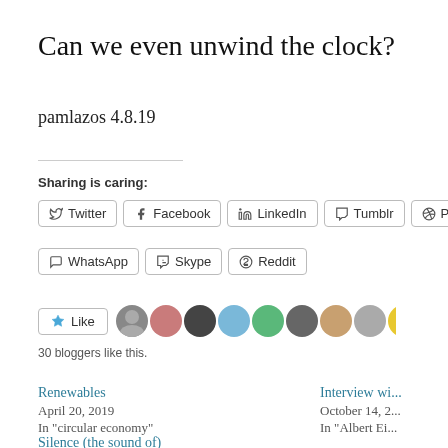Can we even unwind the clock?
pamlazos 4.8.19
Sharing is caring:
Twitter
Facebook
LinkedIn
Tumblr
Pinterest
WhatsApp
Skype
Reddit
30 bloggers like this.
Renewables
April 20, 2019
In "circular economy"
Interview wi...
October 14, 2...
In "Albert Ei...
Silence (the sound of)